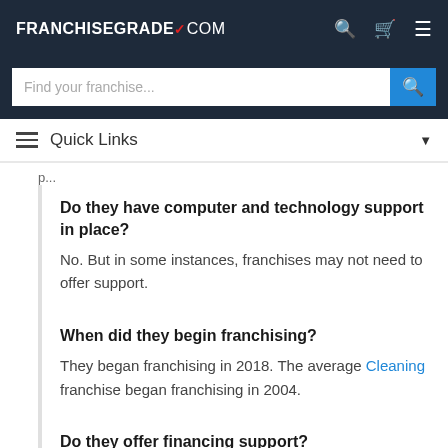FRANCHISEGRADE.COM
Find your franchise...
Quick Links
Do they have computer and technology support in place?
No. But in some instances, franchises may not need to offer support.
When did they begin franchising?
They began franchising in 2018. The average Cleaning franchise began franchising in 2004.
Do they offer financing support?